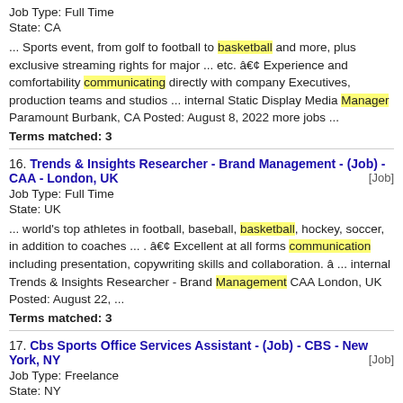Job Type: Full Time
State: CA
... Sports event, from golf to football to basketball and more, plus exclusive streaming rights for major ... etc. â€¢ Experience and comfortability communicating directly with company Executives, production teams and studios ... internal Static Display Media Manager Paramount Burbank, CA Posted: August 8, 2022 more jobs ...
Terms matched: 3
16. Trends & Insights Researcher - Brand Management - (Job) - CAA - London, UK [Job]
Job Type: Full Time
State: UK
... world's top athletes in football, baseball, basketball, hockey, soccer, in addition to coaches ... . â€¢ Excellent at all forms communication including presentation, copywriting skills and collaboration. â ... internal Trends & Insights Researcher - Brand Management CAA London, UK Posted: August 22, ...
Terms matched: 3
17. Cbs Sports Office Services Assistant - (Job) - CBS - New York, NY [Job]
Job Type: Freelance
State: NY
... , including the SEC ON CBS; college basketball, including the NCAA Division I Men's Basketball Championship ... . â€¢ Effective written and verbal communication skills. â€¢ Demonstrated proactive problem-solving and ... resolution skills. â€¢ Professional judgment and emotional maturity to work